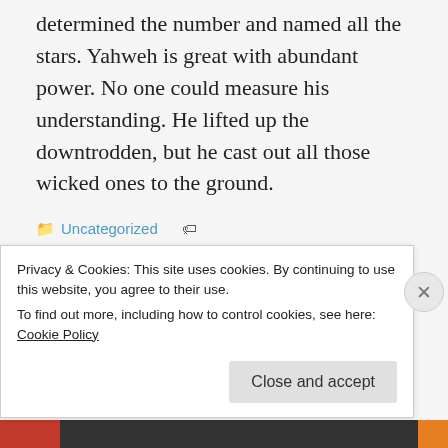determined the number and named all the stars. Yahweh is great with abundant power. No one could measure his understanding. He lifted up the downtrodden, but he cast out all those wicked ones to the ground.
Uncategorized
abundant power, Alleluia, binding up, built up, cast out, continuation, determined, dominates, fitting, gathered, gracious, ground, Hallelujah, healed, Hebrew, his understanding, Jerusalem, lifted up, measure, named, outcasts, praise, preceding psalm, Psalm 147
Privacy & Cookies: This site uses cookies. By continuing to use this website, you agree to their use. To find out more, including how to control cookies, see here: Cookie Policy